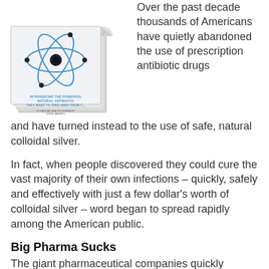[Figure (illustration): A stylized book cover showing an atom diagram in blue with orbiting electrons and a nucleus, with text reading 'Introducing The Powerful Natural Antibiotic They Want To Take Away From You' with a page-curl effect on the corner suggesting a multi-page document.]
Over the past decade thousands of Americans have quietly abandoned the use of prescription antibiotic drugs and have turned instead to the use of safe, natural colloidal silver.
In fact, when people discovered they could cure the vast majority of their own infections – quickly, safely and effectively with just a few dollar's worth of colloidal silver – word began to spread rapidly among the American public.
Big Pharma Sucks
The giant pharmaceutical companies quickly realized